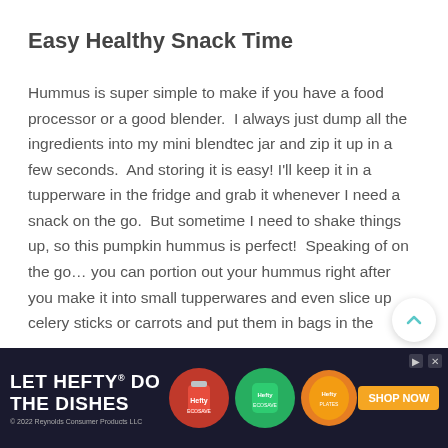Easy Healthy Snack Time
Hummus is super simple to make if you have a food processor or a good blender.  I always just dump all the ingredients into my mini blendtec jar and zip it up in a few seconds.  And storing it is easy! I'll keep it in a tupperware in the fridge and grab it whenever I need a snack on the go.  But sometime I need to shake things up, so this pumpkin hummus is perfect!  Speaking of on the go… you can portion out your hummus right after you make it into small tupperwares and even slice up celery sticks or carrots and put them in bags in the fridge.  That way when you're running out the door to soccer or school you ca
[Figure (other): Advertisement banner for Hefty: LET HEFTY DO THE DISHES with product images and SHOP NOW button. © 2022 Reynolds Consumer Products LLC]